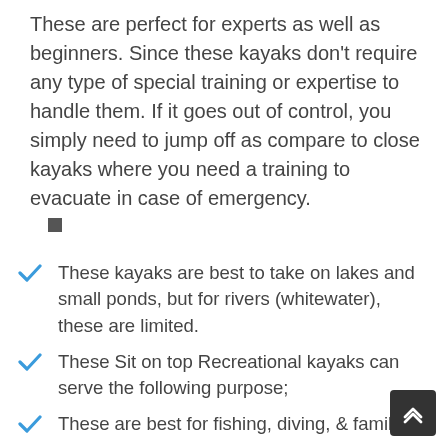These are perfect for experts as well as beginners. Since these kayaks don't require any type of special training or expertise to handle them. If it goes out of control, you simply need to jump off as compare to close kayaks where you need a training to evacuate in case of emergency.
These kayaks are best to take on lakes and small ponds, but for rivers (whitewater), these are limited.
These Sit on top Recreational kayaks can serve the following purpose;
These are best for fishing, diving, & family.
They are good for camping.
They have limited features if you are looking